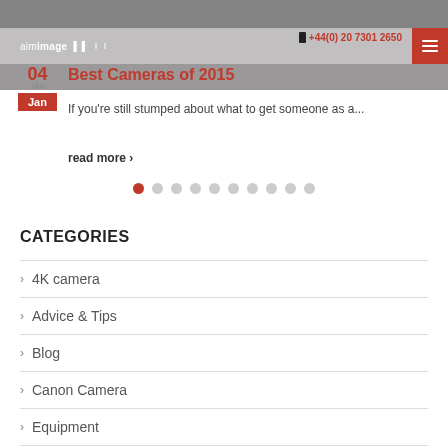[Figure (screenshot): Website screenshot showing a blog post header with dark blurred image background, navigation bar with aimimage logo and red menu button, phone number +44(0) 20 7301 2650, date badge 04 Jan, article title 'Best Cameras of 2015', excerpt text, read more link, pagination dots, and categories list]
aimimage
Best Cameras of 2015
If you're still stumped about what to get someone as a...
read more ›
CATEGORIES
4K camera
Advice & Tips
Blog
Canon Camera
Equipment
Film & TV